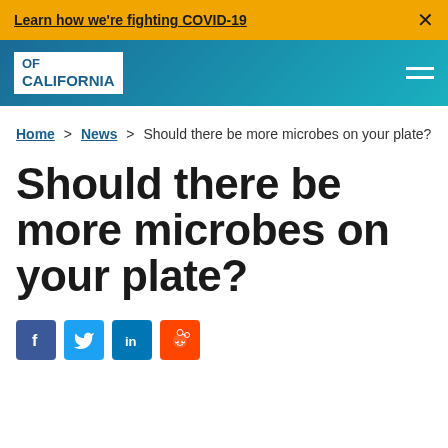Learn how we're fighting COVID-19
[Figure (logo): University of California logo/header with blue gradient background and white logo box showing 'OF CALIFORNIA']
Home > News > Should there be more microbes on your plate?
Should there be more microbes on your plate?
[Figure (illustration): Social media share icons: Facebook, Twitter, LinkedIn, Reddit]